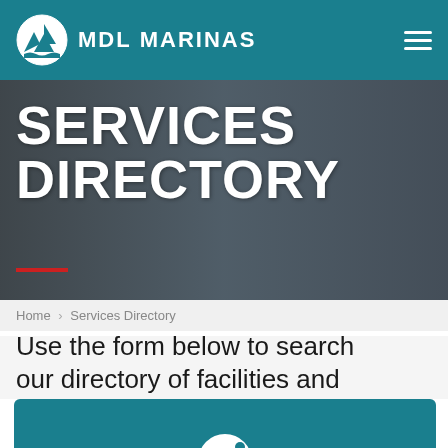MDL MARINAS
SERVICES DIRECTORY
Home > Services Directory
Use the form below to search our directory of facilities and
[Figure (screenshot): Cookie consent banner with cookie icon on teal background]